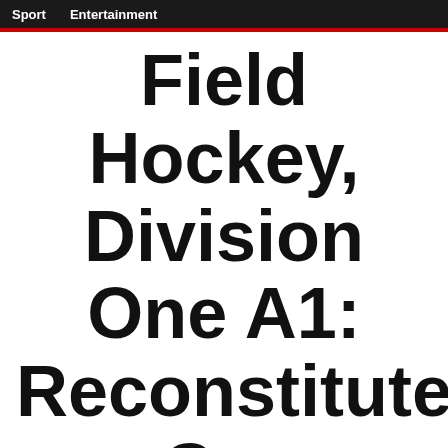Sport   Entertainment
Field Hockey, Division One A1: Reconstituted Cgr surrenders